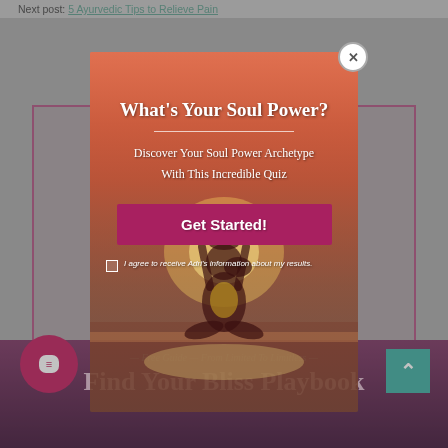Next post: 5 Ayurvedic Tips to Relieve Pain
[Figure (screenshot): Background blog page with purple/pink bottom banner showing 'Find Your Bliss Playbook' text and background yoga/wellness card]
What's Your Soul Power?
Discover Your Soul Power Archetype
With This Incredible Quiz
Get Started!
I agree to receive Adri's information about my results.
Find Your Bliss Playbook